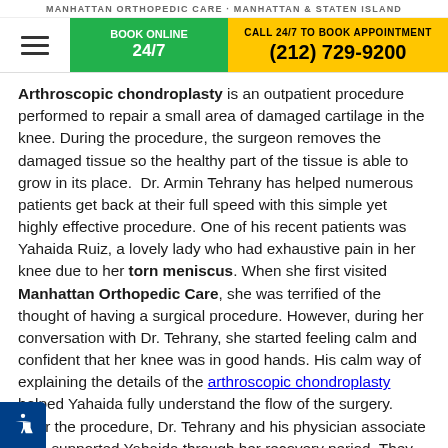MANHATTAN ORTHOPEDIC CARE · MANHATTAN & STATEN ISLAND
Arthroscopic chondroplasty is an outpatient procedure performed to repair a small area of damaged cartilage in the knee. During the procedure, the surgeon removes the damaged tissue so the healthy part of the tissue is able to grow in its place.  Dr. Armin Tehrany has helped numerous patients get back at their full speed with this simple yet highly effective procedure. One of his recent patients was Yahaida Ruiz, a lovely lady who had exhaustive pain in her knee due to her torn meniscus. When she first visited Manhattan Orthopedic Care, she was terrified of the thought of having a surgical procedure. However, during her conversation with Dr. Tehrany, she started feeling calm and confident that her knee was in good hands. His calm way of explaining the details of the arthroscopic chondroplasty helped Yahaida fully understand the flow of the surgery.  After the procedure, Dr. Tehrany and his physician associate Tim, supported Yahaida through her recovery period. They provided the orthopedic care she needed to get back to her pain-free life in a smooth